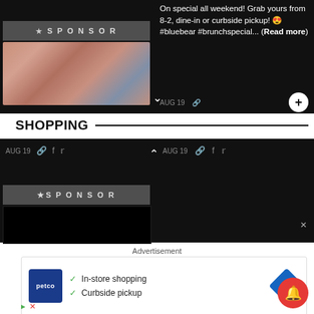[Figure (screenshot): Dark social media post card with a knitted pink/salmon fabric image and a SPONSOR label overlay. Right side shows text: 'On special all weekend! Grab yours from 8-2, dine-in or curbside pickup! 😍 #bluebear #brunchspecial... (Read more)'. Bottom row shows AUG 19, share icons, and a + button.]
SHOPPING
[Figure (screenshot): Dark social media shopping card with AUG 19 and share icons on both halves, a chevron up, and a SPONSOR label with a black image placeholder below. An X close button is visible on the right.]
Advertisement
[Figure (screenshot): Petco advertisement banner showing a navy blue Petco logo, checkmarks next to 'In-store shopping' and 'Curbside pickup', and a blue directional arrow icon. Below are a play and X icon. A red notification bell button overlaps the bottom-right corner.]